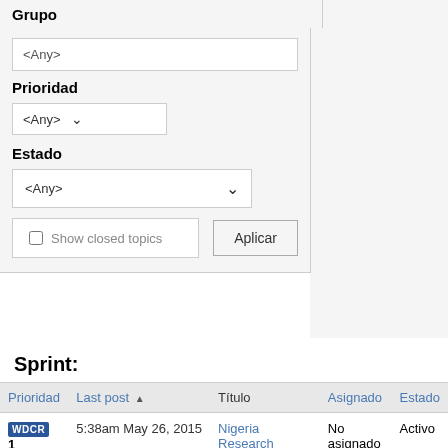Grupo
<Any>
Prioridad
<Any>
Estado
<Any>
Show closed topics
Aplicar
Sprint:
| Prioridad | Last post | Título | Asignado | Estado |
| --- | --- | --- | --- | --- |
| WDCR 1 | 5:38am May 26, 2015 | Nigeria Research Presentation - 2pm Tuesday 26th May - at | No asignado | Activo |